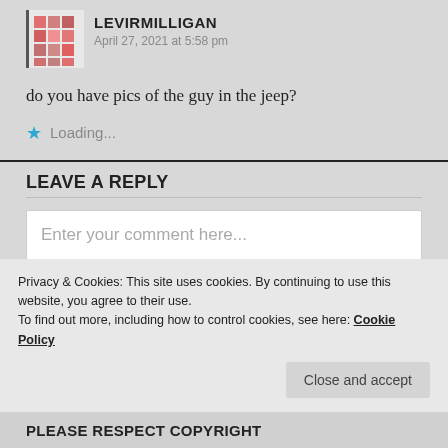[Figure (illustration): User avatar - pink/red abstract pattern image with a border]
LEVIRMILLIGAN
April 27, 2021 at 5:58 pm
do you have pics of the guy in the jeep?
Loading...
LEAVE A REPLY
Enter your comment here...
Privacy & Cookies: This site uses cookies. By continuing to use this website, you agree to their use.
To find out more, including how to control cookies, see here: Cookie Policy
Close and accept
PLEASE RESPECT COPYRIGHT